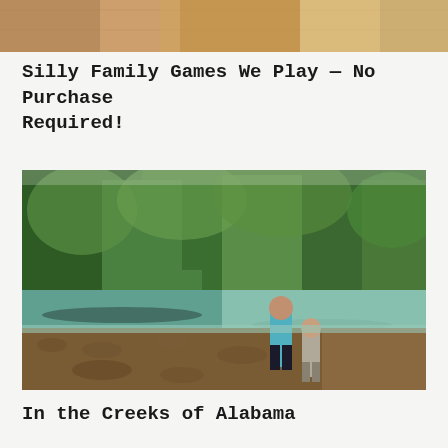[Figure (photo): Partial view of wooden interior or furniture, cropped at top of page]
Silly Family Games We Play — No Purchase Required!
[Figure (photo): Two children standing on a rocky/pebbly creek bank with clear turquoise-green water and lush green forest trees in the background — a creek in Alabama]
In the Creeks of Alabama